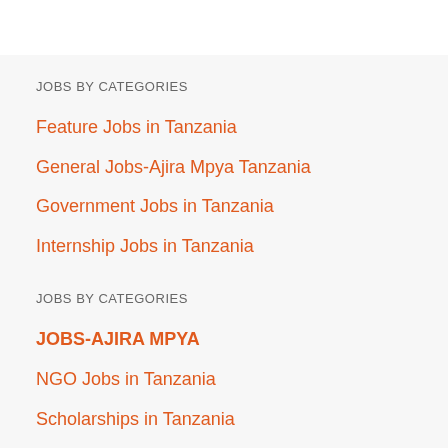JOBS BY CATEGORIES
Feature Jobs in Tanzania
General Jobs-Ajira Mpya Tanzania
Government Jobs in Tanzania
Internship Jobs in Tanzania
JOBS BY CATEGORIES
JOBS-AJIRA MPYA
NGO Jobs in Tanzania
Scholarships in Tanzania